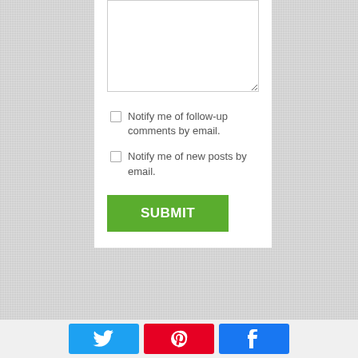[Figure (screenshot): Textarea input field (partially visible, top of form)]
Notify me of follow-up comments by email.
Notify me of new posts by email.
SUBMIT
[Figure (infographic): Social sharing buttons row: Twitter (blue), Pinterest (red), Facebook (blue)]